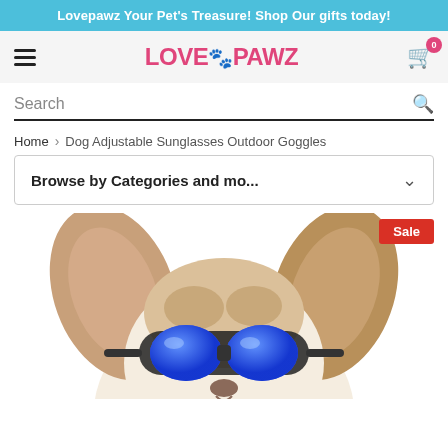Lovepawz Your Pet's Treasure! Shop Our gifts today!
[Figure (logo): LovePawz brand logo in pink with paw print icon]
Search
Home > Dog Adjustable Sunglasses Outdoor Goggles
Browse by Categories and mo...
[Figure (photo): Small dog wearing large blue goggles/sunglasses with big fluffy ears, white background, Sale badge in red top right]